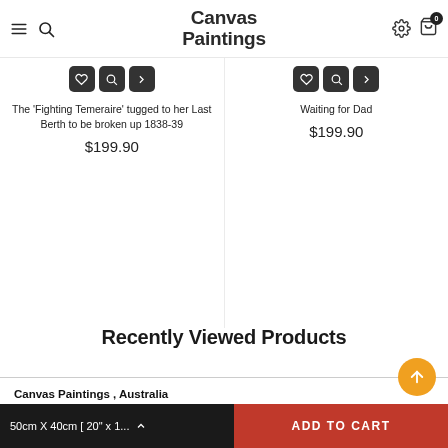Canvas Paintings
The 'Fighting Temeraire' tugged to her Last Berth to be broken up 1838-39
$199.90
Waiting for Dad
$199.90
Recently Viewed Products
Canvas Paintings , Australia
Ph: (+61) 0480 027 260[Text Message ]
Email info@canvaspaintings.com.au
50cm X 40cm [ 20" x 1...   ADD TO CART